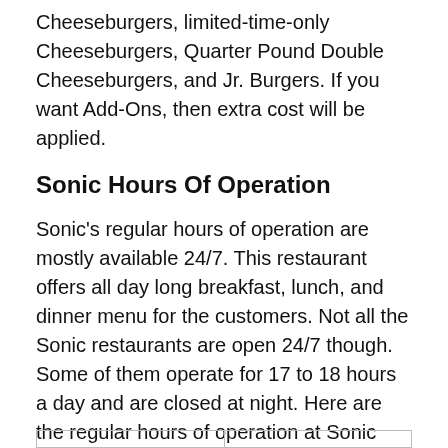Cheeseburgers, limited-time-only Cheeseburgers, Quarter Pound Double Cheeseburgers, and Jr. Burgers. If you want Add-Ons, then extra cost will be applied.
Sonic Hours Of Operation
Sonic's regular hours of operation are mostly available 24/7. This restaurant offers all day long breakfast, lunch, and dinner menu for the customers. Not all the Sonic restaurants are open 24/7 though. Some of them operate for 17 to 18 hours a day and are closed at night. Here are the regular hours of operation at Sonic restaurants.
|  |  |